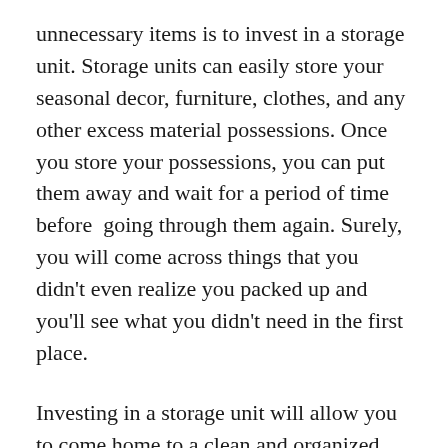unnecessary items is to invest in a storage unit. Storage units can easily store your seasonal decor, furniture, clothes, and any other excess material possessions. Once you store your possessions, you can put them away and wait for a period of time before going through them again. Surely, you will come across things that you didn't even realize you packed up and you'll see what you didn't need in the first place.
Investing in a storage unit will allow you to come home to a clean and organized space, where you can relax with ease. After all, you have control over what stays and goes in your life.
You can breathe now!